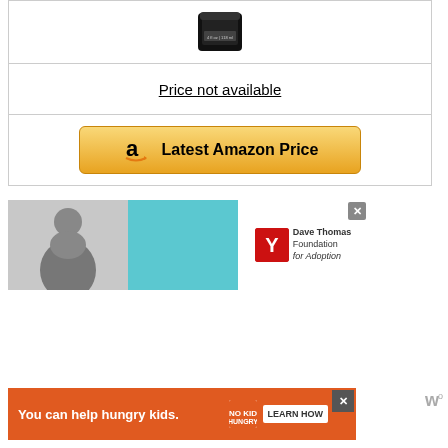[Figure (photo): Product jar/container image — dark cylindrical jar with label, shown against white background within a bordered table cell]
Price not available
[Figure (other): Latest Amazon Price button — gold/yellow gradient button with Amazon 'a' icon and text 'Latest Amazon Price']
[Figure (other): Advertisement banner: Dave Thomas Foundation for Adoption — teal background with person photo on left and Dave Thomas Foundation logo on right, with close X button]
[Figure (other): Advertisement banner: No Kid Hungry — orange background with text 'You can help hungry kids.' and No Kid Hungry logo and Learn How button, with close X button and W logo]